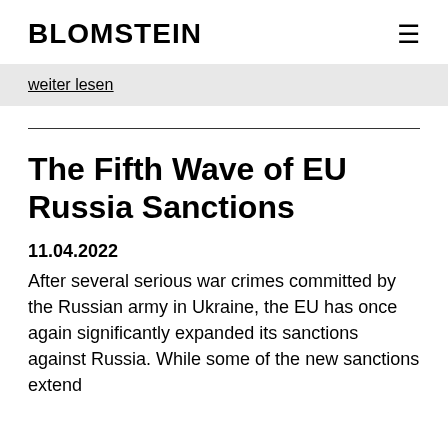BLOMSTEIN
weiter lesen
The Fifth Wave of EU Russia Sanctions
11.04.2022
After several serious war crimes committed by the Russian army in Ukraine, the EU has once again significantly expanded its sanctions against Russia. While some of the new sanctions extend